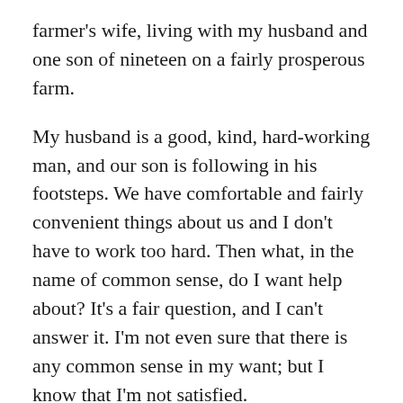farmer's wife, living with my husband and one son of nineteen on a fairly prosperous farm.
My husband is a good, kind, hard-working man, and our son is following in his footsteps. We have comfortable and fairly convenient things about us and I don't have to work too hard. Then what, in the name of common sense, do I want help about? It's a fair question, and I can't answer it. I'm not even sure that there is any common sense in my want; but I know that I'm not satisfied.
Mrs. Alden, we work and eat and sleep, and work and eat and sleep again; that's the whole of our life. Now, is that living? I used not to think so. I married for love and I love my husband, and am sure he loves me, but it would scare either of us to mention it.